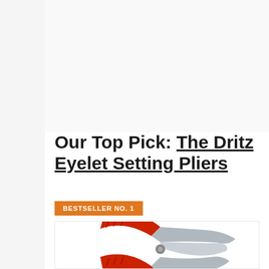[Figure (other): Three pagination dots navigation indicator]
[Figure (other): Empty image placeholder area (product slider)]
Our Top Pick: The Dritz Eyelet Setting Pliers
BESTSELLER NO. 1
[Figure (photo): Photo of Dritz Eyelet Setting Pliers with red handles and silver metal body]